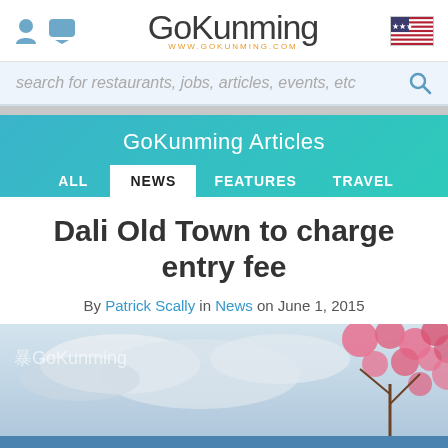GoKunming — www.gokunming.com
search for restaurants, jobs, articles, events, etc
GoKunming Articles
ALL | NEWS | FEATURES | TRAVEL
Dali Old Town to charge entry fee
By Patrick Scally in News on June 1, 2015
[Figure (photo): GoKunming branded banner image with cloudy sky and pink cherry blossom flowers on right side]
CALENDAR | LISTINGS | FORUMS | CLASSIFIEDS | ...